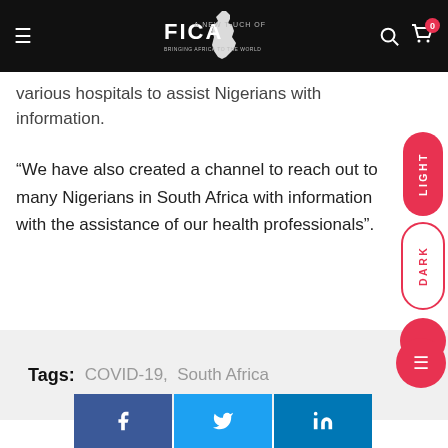A New Touch of Africa — navigation header
various hospitals to assist Nigerians with information.
“We have also created a channel to reach out to many Nigerians in South Africa with information with the assistance of our health professionals”.
Tags: COVID-19, South Africa
[Figure (other): Social share buttons: Facebook (f), Twitter (bird icon), LinkedIn (in)]